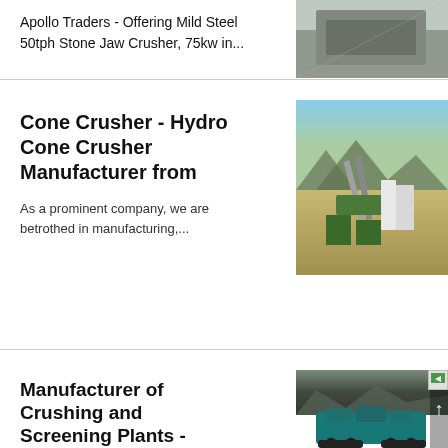Apollo Traders - Offering Mild Steel 50tph Stone Jaw Crusher, 75kw in...
[Figure (photo): Industrial stone crusher equipment photo]
Cone Crusher - Hydro Cone Crusher Manufacturer from
[Figure (photo): Cone crusher plant at quarry site with mountains in background]
As a prominent company, we are betrothed in manufacturing,...
Manufacturer of Crushing and Screening Plants - Apollo...
[Figure (photo): Mobile crushing and screening plant in teal/blue color at quarry]